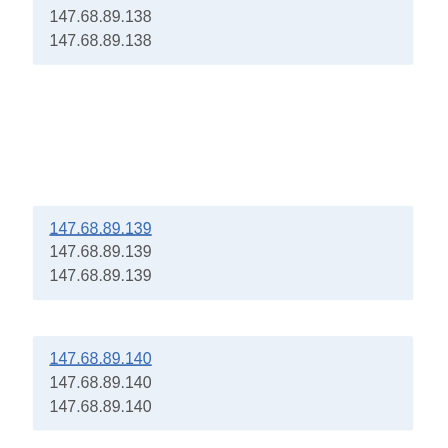147.68.89.138
147.68.89.138
147.68.89.139
147.68.89.139
147.68.89.139
147.68.89.140
147.68.89.140
147.68.89.140